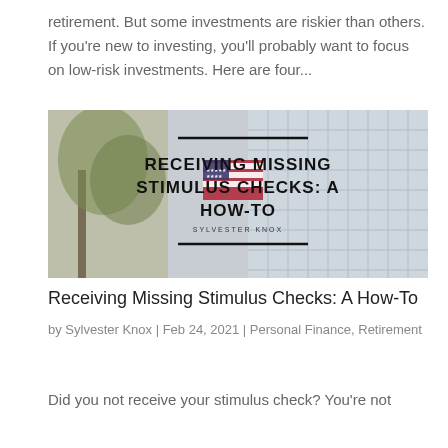retirement. But some investments are riskier than others. If you're new to investing, you'll probably want to focus on low-risk investments. Here are four...
[Figure (illustration): Article thumbnail image with text overlay: 'RECEIVING MISSING STIMULUS CHECKS: A HOW-TO' by Sylvester Knox. Background shows an American flag and city buildings.]
Receiving Missing Stimulus Checks: A How-To
by Sylvester Knox | Feb 24, 2021 | Personal Finance, Retirement
Did you not receive your stimulus check? You're not